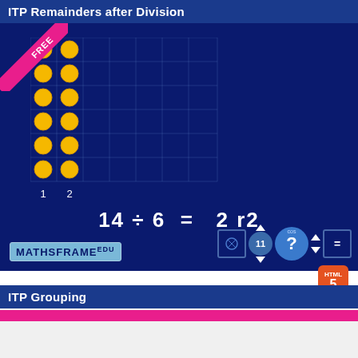ITP Remainders after Division
[Figure (illustration): Interactive teaching program showing a dot grid with 14 dots arranged in 2 columns of 6 rows plus 2 extra, demonstrating 14 ÷ 6 = 2 r2. Shows a FREE badge in pink, column labels 1 and 2, the equation 14 ÷ 6 = 2 r2, Mathsframe logo, and HTML5 badge.]
ITP Grouping